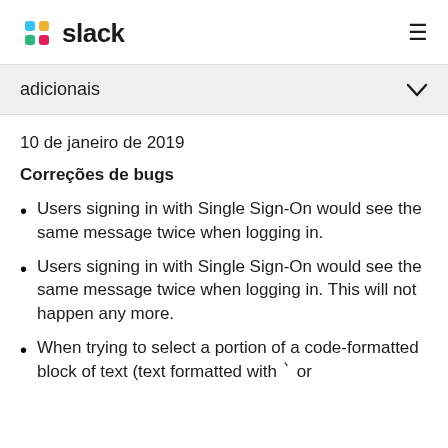slack
adicionais
10 de janeiro de 2019
Correções de bugs
Users signing in with Single Sign-On would see the same message twice when logging in.
Users signing in with Single Sign-On would see the same message twice when logging in. This will not happen any more.
When trying to select a portion of a code-formatted block of text (text formatted with ` or